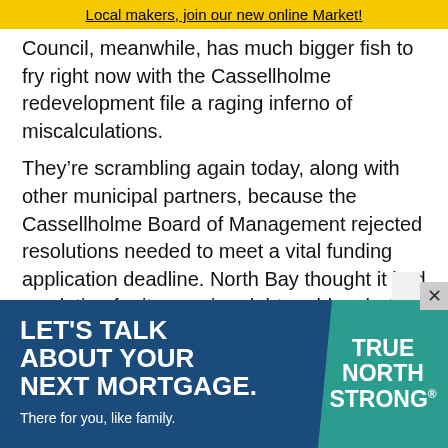Local makers, join our new online Market!
Council, meanwhile, has much bigger fish to fry right now with the Cassellholme redevelopment file a raging inferno of miscalculations.
They’re scrambling again today, along with other municipal partners, because the Cassellholme Board of Management rejected resolutions needed to meet a vital funding application deadline. North Bay thought it had a solution for its growing debt problem but it looks like they got too fancy with the legalese. They and other municipal partners had finally capitulated on the financing plan, even though they didn’t like the tender process and $122-million cost estimate. but added th…
[Figure (infographic): Advertisement banner: LET'S TALK ABOUT YOUR NEXT MORTGAGE. There for you, like family. TRUE NORTH STRONG badge on teal background, dark blue background.]